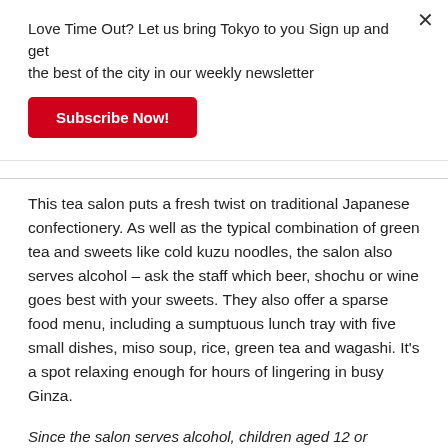Love Time Out? Let us bring Tokyo to you Sign up and get the best of the city in our weekly newsletter
Subscribe Now!
This tea salon puts a fresh twist on traditional Japanese confectionery. As well as the typical combination of green tea and sweets like cold kuzu noodles, the salon also serves alcohol – ask the staff which beer, shochu or wine goes best with your sweets. They also offer a sparse food menu, including a sumptuous lunch tray with five small dishes, miso soup, rice, green tea and wagashi. It's a spot relaxing enough for hours of lingering in busy Ginza.
Since the salon serves alcohol, children aged 12 or younger aren't allowed in.